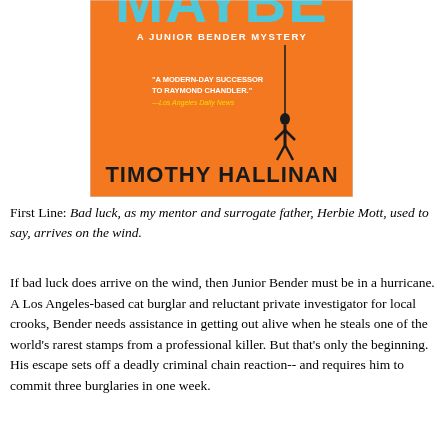[Figure (illustration): Book cover of 'Maybe' by Timothy Hallinan - A Junior Bender Mystery. Orange background with title 'MAYBE' in large blue letters at top, subtitle 'A JUNIOR BENDER MYSTERY', a quote 'A modern-day successor to Raymond Chandler.' —Los Angeles Daily News in yellow, a silhouette of a person hanging on a rope, and author name TIMOTHY HALLINAN in large black letters at bottom.]
First Line: Bad luck, as my mentor and surrogate father, Herbie Mott, used to say, arrives on the wind.
If bad luck does arrive on the wind, then Junior Bender must be in a hurricane. A Los Angeles-based cat burglar and reluctant private investigator for local crooks, Bender needs assistance in getting out alive when he steals one of the world's rarest stamps from a professional killer. But that's only the beginning. His escape sets off a deadly criminal chain reaction-- and requires him to commit three burglaries in one week.